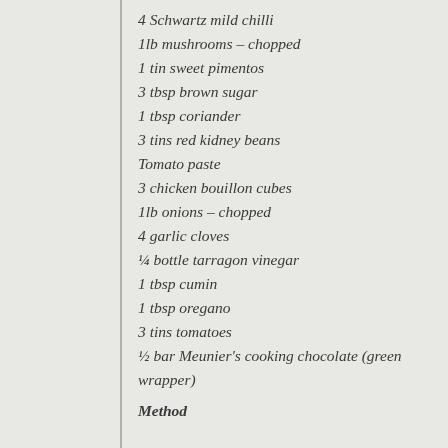4 Schwartz mild chilli
1lb mushrooms – chopped
1 tin sweet pimentos
3 tbsp brown sugar
1 tbsp coriander
3 tins red kidney beans
Tomato paste
3 chicken bouillon cubes
1lb onions – chopped
4 garlic cloves
¼ bottle tarragon vinegar
1 tbsp cumin
1 tbsp oregano
3 tins tomatoes
½ bar Meunier's cooking chocolate (green wrapper)
Method